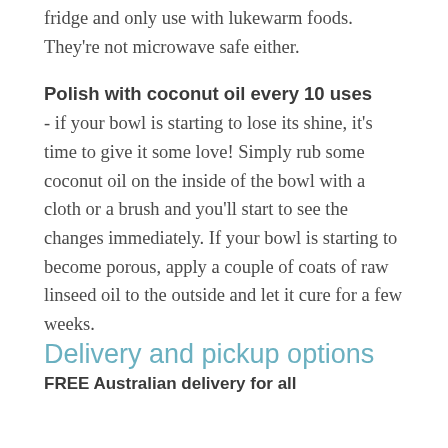fridge and only use with lukewarm foods. They're not microwave safe either.
Polish with coconut oil every 10 uses
- if your bowl is starting to lose its shine, it's time to give it some love! Simply rub some coconut oil on the inside of the bowl with a cloth or a brush and you'll start to see the changes immediately. If your bowl is starting to become porous, apply a couple of coats of raw linseed oil to the outside and let it cure for a few weeks.
Delivery and pickup options
FREE Australian delivery for all